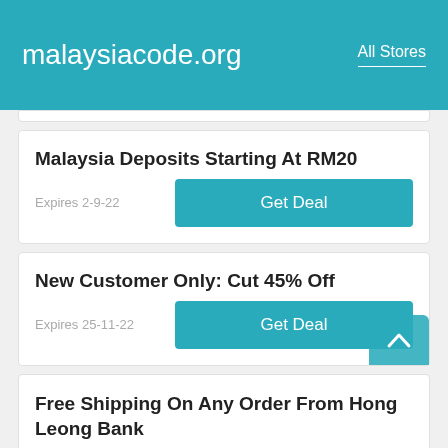malaysiacode.org   All Stores
Malaysia Deposits Starting At RM20
Expires 2-9-22
Get Deal
New Customer Only: Cut 45% Off
Expires 25-11-22
Get Deal
Free Shipping On Any Order From Hong Leong Bank